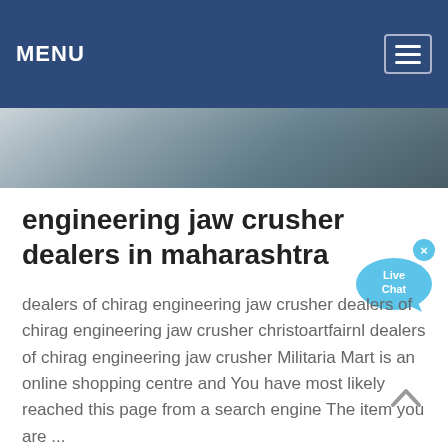MENU
[Figure (photo): Partial view of a jaw crusher machine, grayish metallic tones]
engineering jaw crusher dealers in maharashtra
dealers of chirag engineering jaw crusher dealers of chirag engineering jaw crusher christoartfairnl dealers of chirag engineering jaw crusher Militaria Mart is an online shopping centre and You have most likely reached this page from a search engine The item you are ...
Learn More